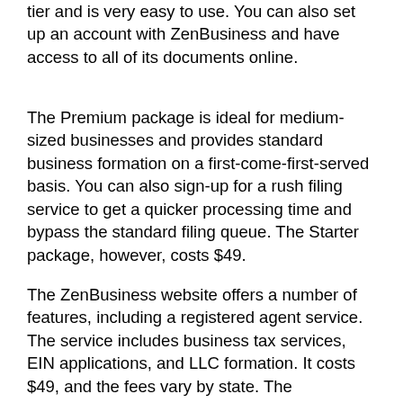tier and is very easy to use. You can also set up an account with ZenBusiness and have access to all of its documents online.
The Premium package is ideal for medium-sized businesses and provides standard business formation on a first-come-first-served basis. You can also sign-up for a rush filing service to get a quicker processing time and bypass the standard filing queue. The Starter package, however, costs $49.
The ZenBusiness website offers a number of features, including a registered agent service. The service includes business tax services, EIN applications, and LLC formation. It costs $49, and the fees vary by state. The Zenbusiness Starter plan is $49